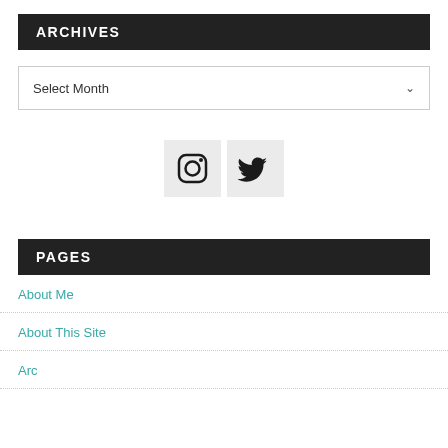ARCHIVES
Select Month
[Figure (illustration): Social media icons: Instagram and Twitter, each in a light grey square button]
PAGES
About Me
About This Site
Archives